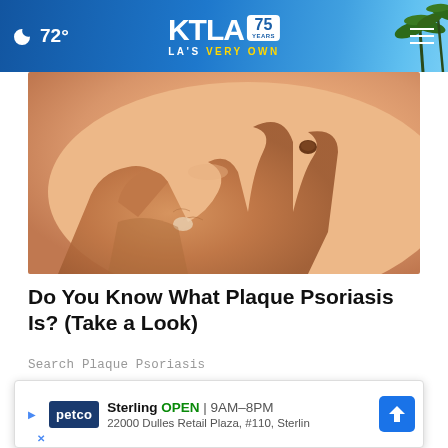🌙 72° | KTLA 75 YEARS | LA'S VERY OWN
[Figure (photo): Close-up photo of a hand touching skin with a small dark mole or skin lesion visible on the body]
Do You Know What Plaque Psoriasis Is? (Take a Look)
Search Plaque Psoriasis
[Figure (screenshot): Partial screenshot of another article or video content showing illustrated figures in blue tones, with an X close button visible]
[Figure (other): Petco advertisement banner: Sterling OPEN 9AM-8PM, 22000 Dulles Retail Plaza, #110, Sterling]